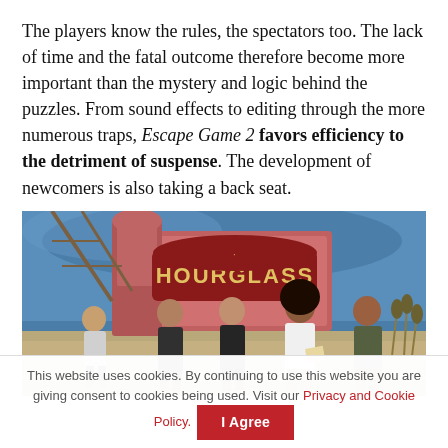The players know the rules, the spectators too. The lack of time and the fatal outcome therefore become more important than the mystery and logic behind the puzzles. From sound effects to editing through the more numerous traps, Escape Game 2 favors efficiency to the detriment of suspense. The development of newcomers is also taking a back seat.
[Figure (photo): Movie still showing four characters (one woman in white top reading a note, another woman in green top, two men in dark jackets) standing in front of a carnival/amusement park backdrop with a large 'HOURGLASS' sign.]
This website uses cookies. By continuing to use this website you are giving consent to cookies being used. Visit our Privacy and Cookie Policy.  I Agree